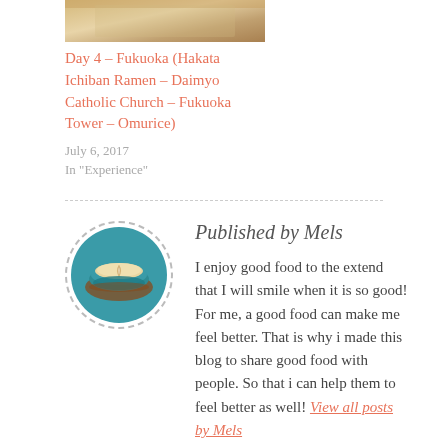[Figure (photo): Partial view of a restaurant or building interior, cropped at the top]
Day 4 – Fukuoka (Hakata Ichiban Ramen – Daimyo Catholic Church – Fukuoka Tower – Omurice)
July 6, 2017
In "Experience"
[Figure (photo): Circular avatar image of a latte art coffee cup in a teal saucer]
Published by Mels
I enjoy good food to the extend that I will smile when it is so good! For me, a good food can make me feel better. That is why i made this blog to share good food with people. So that i can help them to feel better as well! View all posts by Mels